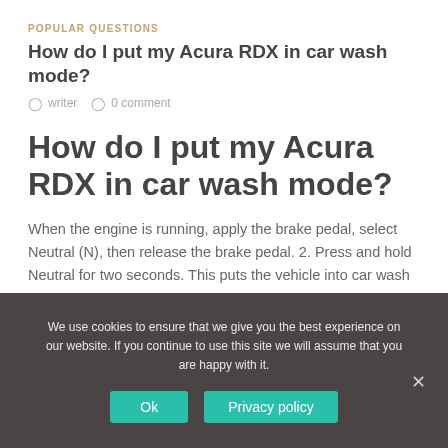POPULAR QUESTIONS
How do I put my Acura RDX in car wash mode?
writer   0 comment
How do I put my Acura RDX in car wash mode?
When the engine is running, apply the brake pedal, select Neutral (N), then release the brake pedal. 2. Press and hold Neutral for two seconds. This puts the vehicle into car wash mode.
We use cookies to ensure that we give you the best experience on our website. If you continue to use this site we will assume that you are happy with it.